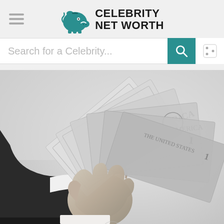[Figure (logo): Celebrity Net Worth logo with teal piggy bank icon and bold black text 'CELEBRITY NET WORTH']
Search for a Celebrity...
[Figure (photo): Black and white photograph of a hand in a suit sleeve holding a fan of US dollar bills ($1, $5, $10 denominations visible)]